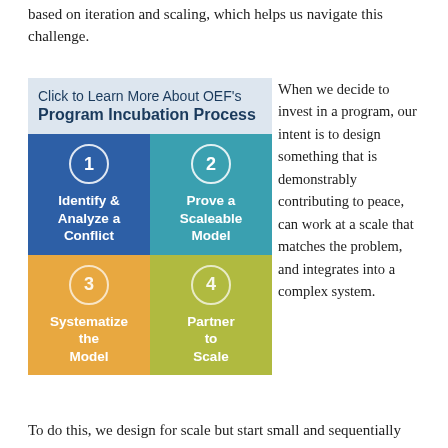based on iteration and scaling, which helps us navigate this challenge.
[Figure (infographic): OEF Program Incubation Process: 2x2 grid with 4 steps. Step 1 (blue): Identify & Analyze a Conflict. Step 2 (teal): Prove a Scaleable Model. Step 3 (orange): Systematize the Model. Step 4 (yellow-green): Partner to Scale. Header box reads 'Click to Learn More About OEF's Program Incubation Process'.]
When we decide to invest in a program, our intent is to design something that is demonstrably contributing to peace, can work at a scale that matches the problem, and integrates into a complex system.
To do this, we design for scale but start small and sequentially